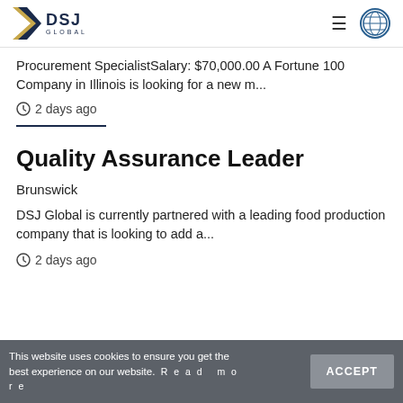DSJ Global
Procurement SpecialistSalary: $70,000.00 A Fortune 100 Company in Illinois is looking for a new m...
2 days ago
Quality Assurance Leader
Brunswick
DSJ Global is currently partnered with a leading food production company that is looking to add a...
2 days ago
This website uses cookies to ensure you get the best experience on our website.  Read more